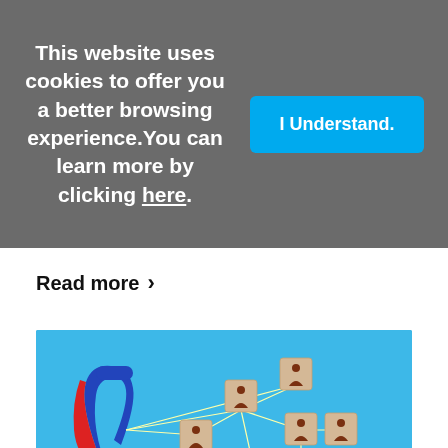This website uses cookies to offer you a better browsing experience. You can learn more by clicking here.
I Understand.
Read more ›
[Figure (photo): A horseshoe magnet (blue and red) connected by white lines to multiple wooden blocks, each featuring a person icon, arranged in a network pattern on a bright blue background.]